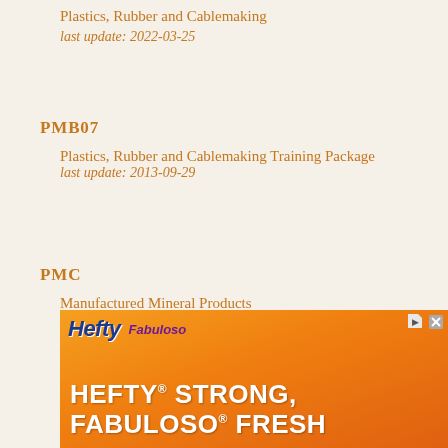Plastics, Rubber and Cablemaking
last update: 2022-03-25
PMB07
Plastics, Rubber and Cablemaking Training Package
last update: 2013-09-29
PMC
Manufactured Mineral Products
last update: 2017-02-28
[Figure (illustration): Advertisement banner for Hefty and Fabuloso products with orange background showing 'HEFTY STRONG, FABULOSO FRESH' text]